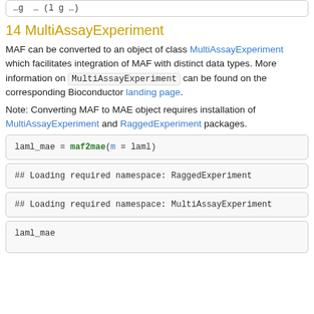...g ... (l g ...)
14 MultiAssayExperiment
MAF can be converted to an object of class MultiAssayExperiment which facilitates integration of MAF with distinct data types. More information on MultiAssayExperiment can be found on the corresponding Bioconductor landing page.
Note: Converting MAF to MAE object requires installation of MultiAssayExperiment and RaggedExperiment packages.
laml_mae = maf2mae(m = laml)
## Loading required namespace: RaggedExperiment
## Loading required namespace: MultiAssayExperiment
laml_mae